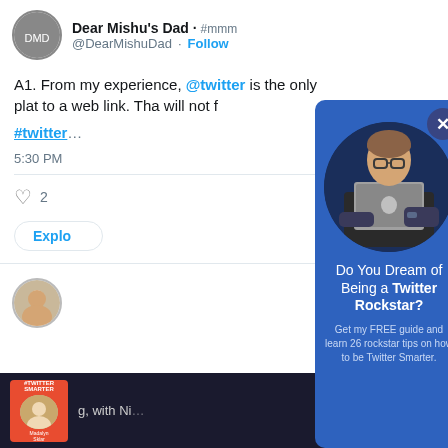[Figure (screenshot): Twitter/X tweet screenshot from @DearMishuDad with text about @twitter being the only platform to link to a website link, with #twitter hashtag, timestamp 5:30 PM, 2 likes, and Explore button]
[Figure (photo): Blue modal popup overlay showing a woman with glasses and tattoos holding a MacBook laptop, circular profile photo style]
Do You Dream of Being a Twitter Rockstar?
Get my FREE guide and learn 26 rockstar tips on how to be Twitter Smarter.